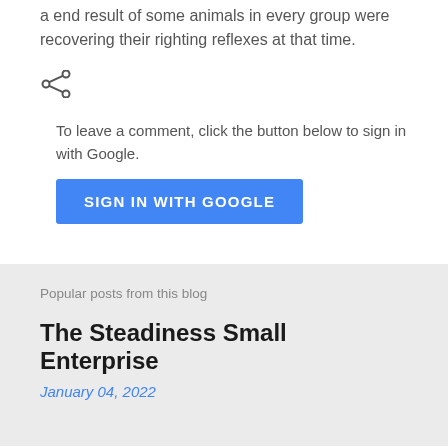a end result of some animals in every group were recovering their righting reflexes at that time.
[Figure (other): Share icon (less-than style arrow)]
To leave a comment, click the button below to sign in with Google.
[Figure (other): SIGN IN WITH GOOGLE button]
Popular posts from this blog
The Steadiness Small Enterprise
January 04, 2022